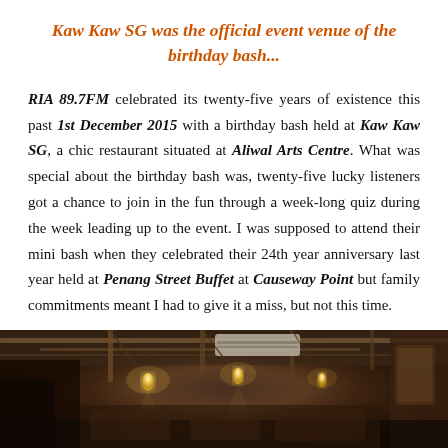Kaw Kaw SG was the official event venue of the birthday bash...
RIA 89.7FM celebrated its twenty-five years of existence this past 1st December 2015 with a birthday bash held at Kaw Kaw SG, a chic restaurant situated at Aliwal Arts Centre. What was special about the birthday bash was, twenty-five lucky listeners got a chance to join in the fun through a week-long quiz during the week leading up to the event. I was supposed to attend their mini bash when they celebrated their 24th year anniversary last year held at Penang Street Buffet at Causeway Point but family commitments meant I had to give it a miss, but not this time.
[Figure (photo): Interior photo of Kaw Kaw SG restaurant showing industrial-style ceiling with pipes, hanging Edison bulbs, warm ambient lighting, and dark wood decor.]